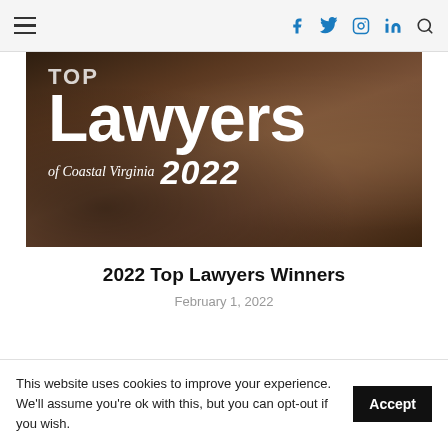Navigation bar with hamburger menu and social icons: f (Facebook), Twitter, Instagram, in (LinkedIn), search
[Figure (photo): Hero image showing 'Top Lawyers of Coastal Virginia 2022' text in white on a dark brown background with a blurred gavel and desk in the background]
2022 Top Lawyers Winners
February 1, 2022
This website uses cookies to improve your experience. We'll assume you're ok with this, but you can opt-out if you wish.